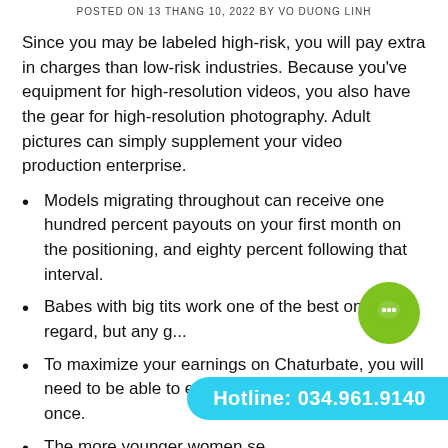POSTED ON 13 THANG 10, 2022 BY VO DUONG LINH
Since you may be labeled high-risk, you will pay extra in charges than low-risk industries. Because you've equipment for high-resolution videos, you also have the gear for high-resolution photography. Adult pictures can simply supplement your video production enterprise.
Models migrating throughout can receive one hundred percent payouts on your first month on the positioning, and eighty percent following that interval.
Babes with big tits work one of the best on this regard, but any g...
To maximize your earnings on Chaturbate, you will need to be able to entertain a large viewers all at once.
The more younger women se…